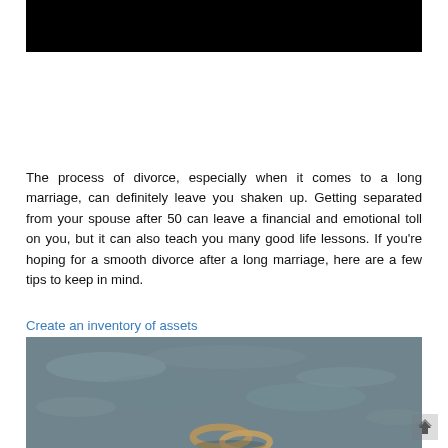[Figure (photo): Dark/black image at top of page, appears to be a dark background photo]
The process of divorce, especially when it comes to a long marriage, can definitely leave you shaken up. Getting separated from your spouse after 50 can leave a financial and emotional toll on you, but it can also teach you many good life lessons. If you're hoping for a smooth divorce after a long marriage, here are a few tips to keep in mind.
Create an inventory of assets
[Figure (photo): Photo of two wedding rings on a wet dark surface, suggesting divorce or separation theme]